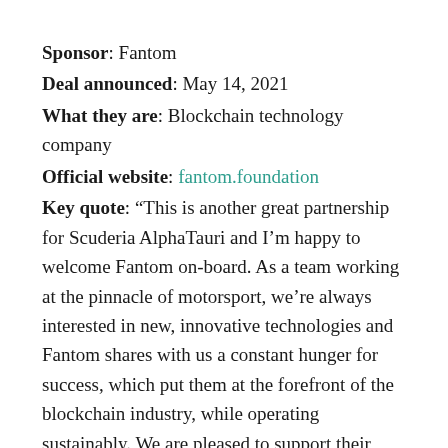Sponsor: Fantom
Deal announced: May 14, 2021
What they are: Blockchain technology company
Official website: fantom.foundation
Key quote: “This is another great partnership for Scuderia AlphaTauri and I’m happy to welcome Fantom on-board. As a team working at the pinnacle of motorsport, we’re always interested in new, innovative technologies and Fantom shares with us a constant hunger for success, which put them at the forefront of the blockchain industry, while operating sustainably. We are pleased to support their continuing growth on a global scale and I look forward to seeing the Fantom logo displayed on